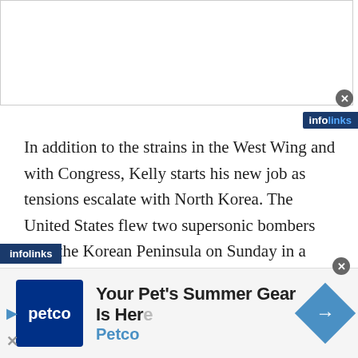[Figure (other): Top advertisement banner (white/empty)]
[Figure (logo): Infolinks badge top right]
In addition to the strains in the West Wing and with Congress, Kelly starts his new job as tensions escalate with North Korea. The United States flew two supersonic bombers over the Korean Peninsula on Sunday in a show of force against North Korea, following the country's latest intercontinental ballistic missile test. The U.S. also said it conducted a successful test of a missile defense system located in Alaska.
Sen. Dianne Feinstein, D-Calif., said on CBS' “Face the Nation” that she hopes Kelly can “be effective,” and “begin
[Figure (logo): Infolinks bottom bar label]
[Figure (other): Petco advertisement banner at bottom: Your Pet's Summer Gear Is Here - Petco]